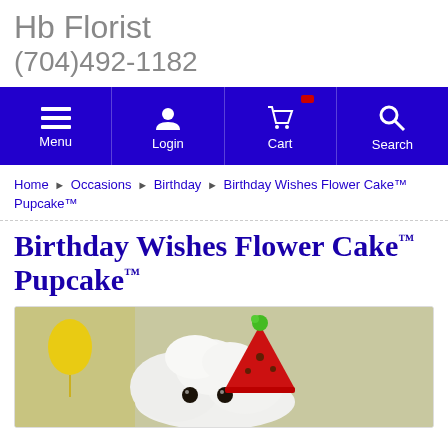Hb Florist
(704)492-1182
[Figure (screenshot): Navigation bar with Menu, Login, Cart, and Search icons on blue/purple background]
Home ▶ Occasions ▶ Birthday ▶ Birthday Wishes Flower Cake™ Pupcake™
Birthday Wishes Flower Cake™ Pupcake™
[Figure (photo): Photo of a dog wearing a red birthday party hat, surrounded by white whipped cream/flower cake decoration, on a light olive/cream background]